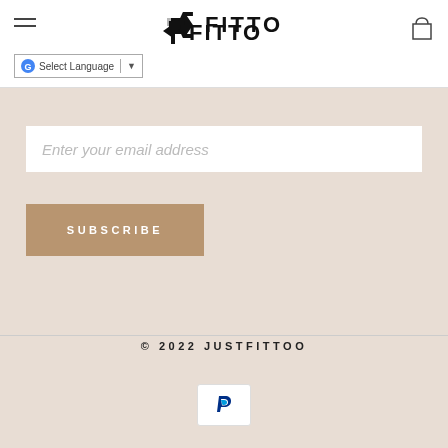[Figure (logo): FITTO brand logo with stylized F icon and FITTO text in bold sans-serif]
[Figure (screenshot): Google Translate widget with G logo and Select Language dropdown]
[Figure (other): Shopping cart icon (outline bag shape)]
Enter your email address
SUBSCRIBE
© 2022 JUSTFITTOO
[Figure (logo): PayPal logo on white badge with border]